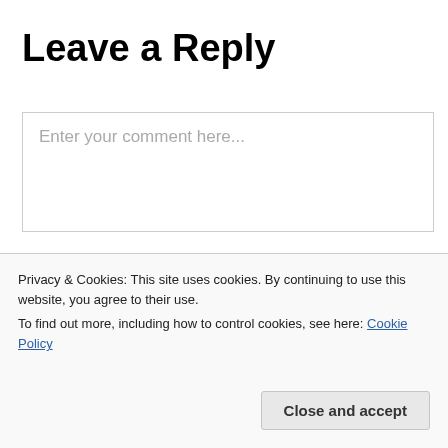Leave a Reply
[Figure (screenshot): Comment text area input box with placeholder text 'Enter your comment here...']
This site uses Akismet to reduce spam. Learn how your comment data is processed.
Privacy & Cookies: This site uses cookies. By continuing to use this website, you agree to their use.
To find out more, including how to control cookies, see here: Cookie Policy
Close and accept